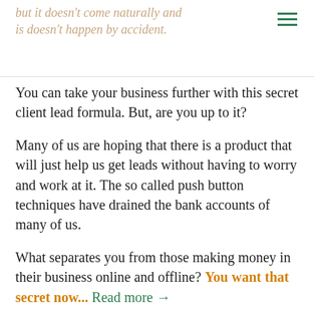but it doesn't come naturally and
is doesn't happen by accident.
You can take your business further with this secret client lead formula. But, are you up to it?
Many of us are hoping that there is a product that will just help us get leads without having to worry and work at it. The so called push button techniques have drained the bank accounts of many of us.
What separates you from those making money in their business online and offline? You want that secret now... Read more →
Blog & Business Plannning, Client Centered Awareness, Tried & True Promotion-Prosperity Lessons   business strategies, get more clients,